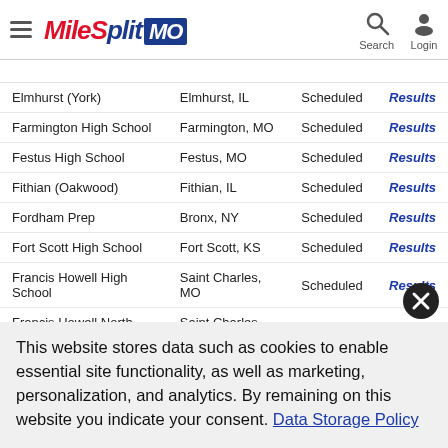MileSplit MO — Search — Login
| School | Location | Status |  |
| --- | --- | --- | --- |
| Elmhurst (York) | Elmhurst, IL | Scheduled | Results |
| Farmington High School | Farmington, MO | Scheduled | Results |
| Festus High School | Festus, MO | Scheduled | Results |
| Fithian (Oakwood) | Fithian, IL | Scheduled | Results |
| Fordham Prep | Bronx, NY | Scheduled | Results |
| Fort Scott High School | Fort Scott, KS | Scheduled | Results |
| Francis Howell High School | Saint Charles, MO | Scheduled | Results |
| Francis Howell North High School | Saint Charles, MO | Scheduled | Results |
| Ft. Zumwalt East High School | Saint Peters, MO | Scheduled | Results |
| Girard High School | Girard, KS | Scheduled | Results |
This website stores data such as cookies to enable essential site functionality, as well as marketing, personalization, and analytics. By remaining on this website you indicate your consent. Data Storage Policy